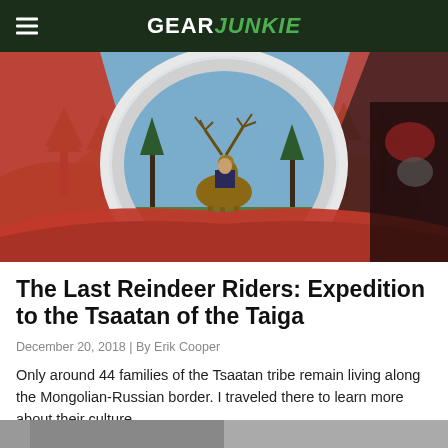GEAR JUNKIE
[Figure (photo): View from inside a red tent looking out through the circular tent door at a person riding a reindeer with large antlers, surrounded by trees and mountains in the background. A red sleeping bag is visible in the foreground.]
The Last Reindeer Riders: Expedition to the Tsaatan of the Taiga
December 20, 2018 | By Erik Cooper
Only around 44 families of the Tsaatan tribe remain living along the Mongolian-Russian border. I traveled there to learn more about their culture.
[Figure (photo): Partial bottom strip showing another photo beginning to appear at the bottom of the page.]